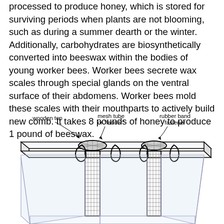processed to produce honey, which is stored for surviving periods when plants are not blooming, such as during a summer dearth or the winter. Additionally, carbohydrates are biosynthetically converted into beeswax within the bodies of young worker bees. Worker bees secrete wax scales through special glands on the ventral surface of their abdomens. Worker bees mold these scales with their mouthparts to actively build new comb. It takes 8 pounds of honey to produce 1 pound of beeswax.
[Figure (engineering-diagram): Technical diagram of a beehive top-bar assembly showing a wooden top with two mesh tube openings ('ladders'), rubber band fasteners, and hanging mesh tubes descending into a V-shaped hive body. Labels point to: wooden top, mesh tube or 'ladder', rubber band fastener.]